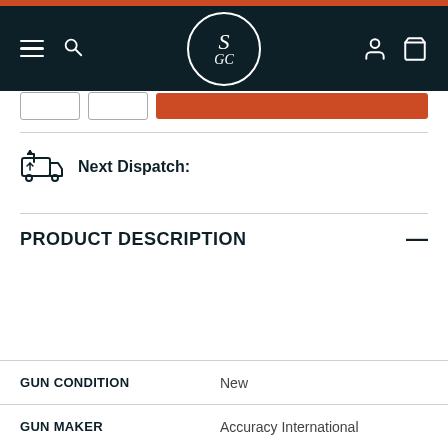SGC navigation header with logo
Next Dispatch:
PRODUCT DESCRIPTION
| Field | Value |
| --- | --- |
| GUN CONDITION | New |
| GUN MAKER | Accuracy International |